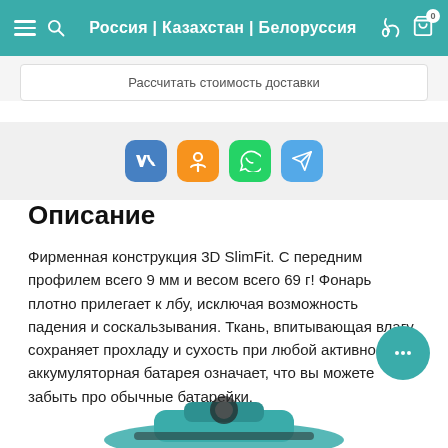Россия | Казахстан | Белоруссия
Рассчитать стоимость доставки
[Figure (illustration): Social sharing buttons: VK (blue), OK (orange), WhatsApp (green), Telegram (light blue)]
Описание
Фирменная конструкция 3D SlimFit. С передним профилем всего 9 мм и весом всего 69 г! Фонарь плотно прилегает к лбу, исключая возможность падения и соскальзывания. Ткань, впитывающая влагу, сохраняет прохладу и сухость при любой активности, а аккумуляторная батарея означает, что вы можете забыть про обычные батарейки.
[Figure (illustration): Chat/support bubble button in teal color with speech bubble dots icon, bottom right corner]